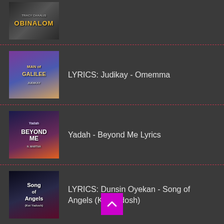[Figure (photo): Album art thumbnail for Obinalom]
[Figure (photo): Album art thumbnail for Judikay - Man of Galilee / Omemma]
LYRICS: Judikay - Omemma
[Figure (photo): Album art thumbnail for Yadah - Beyond Me]
Yadah - Beyond Me Lyrics
[Figure (photo): Album art thumbnail for Dunsin Oyekan - Song of Angels (Kei Yadosh)]
LYRICS: Dunsin Oyekan - Song of Angels (Kei Yadosh)